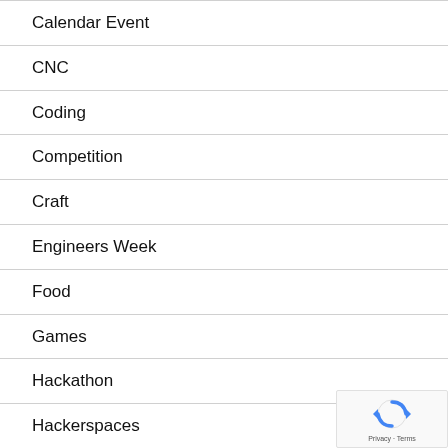Calendar Event
CNC
Coding
Competition
Craft
Engineers Week
Food
Games
Hackathon
Hackerspaces
Laser